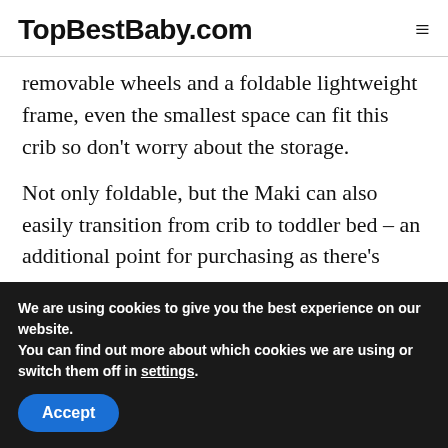TopBestBaby.com
removable wheels and a foldable lightweight frame, even the smallest space can fit this crib so don't worry about the storage.
Not only foldable, but the Maki can also easily transition from crib to toddler bed – an additional point for purchasing as there's
We are using cookies to give you the best experience on our website.
You can find out more about which cookies we are using or switch them off in settings.
Accept